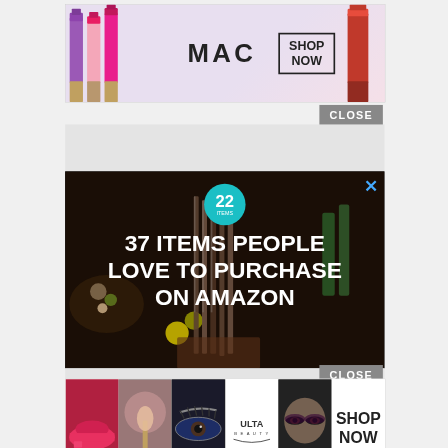[Figure (screenshot): MAC Cosmetics advertisement banner showing lipsticks on left, MAC logo in center, SHOP NOW box on right, and red lipstick on far right]
CLOSE
[Figure (screenshot): Gray placeholder advertisement box (empty ad unit)]
[Figure (screenshot): Amazon advertisement showing '37 ITEMS PEOPLE LOVE TO PURCHASE ON AMAZON' with a teal badge showing '22' and an X close button, kitchen items in background]
[Figure (screenshot): Gray placeholder advertisement box (empty ad unit)]
CLOSE
[Figure (screenshot): Ulta Beauty advertisement banner showing beauty product images, Ulta logo, model with eye makeup, and SHOP NOW box]